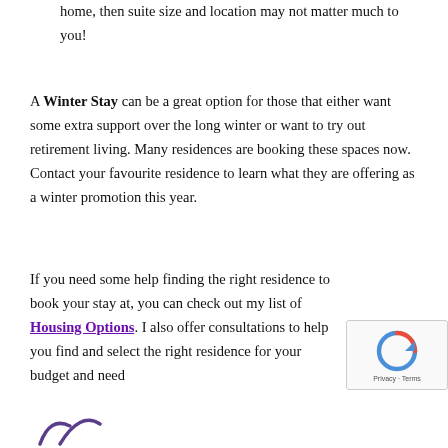home, then suite size and location may not matter much to you!
A Winter Stay can be a great option for those that either want some extra support over the long winter or want to try out retirement living. Many residences are booking these spaces now. Contact your favourite residence to learn what they are offering as a winter promotion this year.
If you need some help finding the right residence to book your stay at, you can check out my list of Housing Options. I also offer consultations to help you find and select the right residence for your budget and need